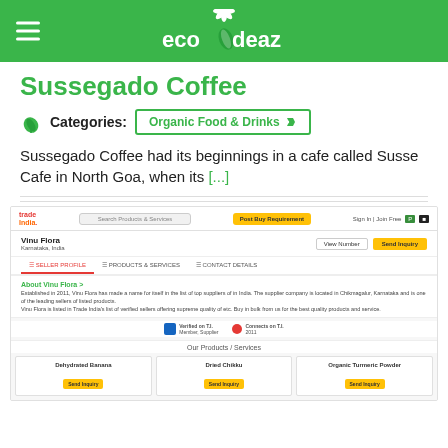ecodeaz — navigation header
Sussegado Coffee
Categories: Organic Food & Drinks
Sussegado Coffee had its beginnings in a cafe called Susse Cafe in North Goa, when its [...]
[Figure (screenshot): Screenshot of Trade India supplier page for Vinu Flora, Karnataka, India, showing seller profile, products & services, and contact details tabs, about section, and product cards for Dehydrated Banana, Dried Chikku, and Organic Turmeric Powder with Send Inquiry buttons.]